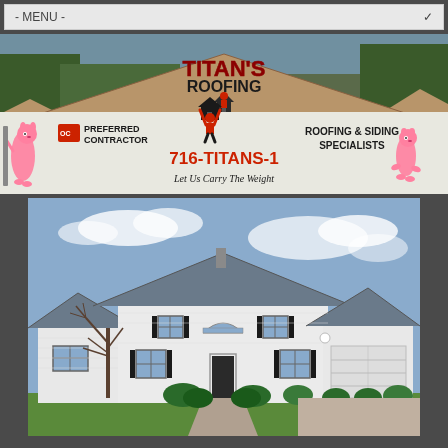- MENU -
[Figure (logo): Titan's Roofing banner with logo, Pink Panther mascots, Owens Corning Preferred Contractor badge, phone number 716-TITANS-1, tagline 'Let Us Carry The Weight', and 'Roofing & Siding Specialists' text on a dark background with rooftop photograph.]
[Figure (photo): Exterior photo of a large two-story white colonial house with dark gray roof, multiple gables, attached two-car garage, arched window above front door, black shutters, and landscaping with trees and shrubs under a blue sky.]